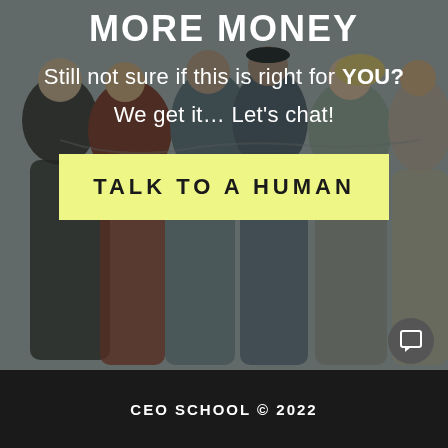[Figure (photo): Group of people hugging each other from behind, outdoor setting, with dark overlay]
MORE MONEY
Still not sure if this is right for YOU?
We get it… Let's chat!
TALK TO A HUMAN
CEO SCHOOL © 2022